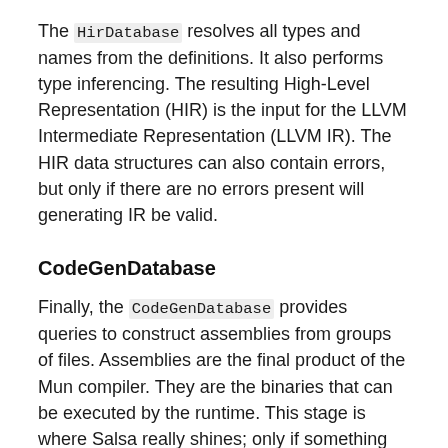The HirDatabase resolves all types and names from the definitions. It also performs type inferencing. The resulting High-Level Representation (HIR) is the input for the LLVM Intermediate Representation (LLVM IR). The HIR data structures can also contain errors, but only if there are no errors present will generating IR be valid.
CodeGenDatabase
Finally, the CodeGenDatabase provides queries to construct assemblies from groups of files. Assemblies are the final product of the Mun compiler. They are the binaries that can be executed by the runtime. This stage is where Salsa really shines; only if something actually changed in the HIR will an assembly be created.